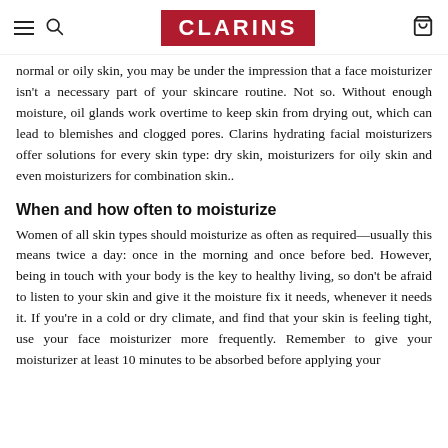CLARINS
normal or oily skin, you may be under the impression that a face moisturizer isn't a necessary part of your skincare routine. Not so. Without enough moisture, oil glands work overtime to keep skin from drying out, which can lead to blemishes and clogged pores. Clarins hydrating facial moisturizers offer solutions for every skin type: dry skin, moisturizers for oily skin and even moisturizers for combination skin..
When and how often to moisturize
Women of all skin types should moisturize as often as required—usually this means twice a day: once in the morning and once before bed. However, being in touch with your body is the key to healthy living, so don't be afraid to listen to your skin and give it the moisture fix it needs, whenever it needs it. If you're in a cold or dry climate, and find that your skin is feeling tight, use your face moisturizer more frequently. Remember to give your moisturizer at least 10 minutes to be absorbed before applying your